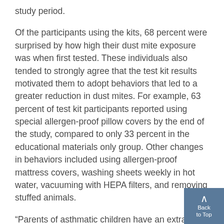study period.
Of the participants using the kits, 68 percent were surprised by how high their dust mite exposure was when first tested. These individuals also tended to strongly agree that the test kit results motivated them to adopt behaviors that led to a greater reduction in dust mites. For example, 63 percent of test kit participants reported using special allergen-proof pillow covers by the end of the study, compared to only 33 percent in the educational materials only group. Other changes in behaviors included using allergen-proof mattress covers, washing sheets weekly in hot water, vacuuming with HEPA filters, and removing stuffed animals.
“Parents of asthmatic children have an extra lon